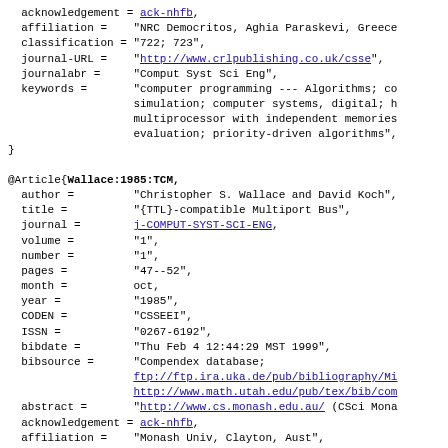acknowledgement = ack-nhfb,
  affiliation = "NRC Democritos, Aghia Paraskevi, Greece
  classification = "722; 723",
  journal-URL = "http://www.crlpublishing.co.uk/csse",
  journalabr = "Comput Syst Sci Eng",
  keywords = "computer programming --- Algorithms; co simulation; computer systems, digital; h multiprocessor with independent memories evaluation; priority-driven algorithms",
}

@Article{Wallace:1985:TCM,
  author = "Christopher S. Wallace and David Koch",
  title = "{TTL}-compatible Multiport Bus",
  journal = j-COMPUT-SYST-SCI-ENG,
  volume = "1",
  number = "1",
  pages = "47--52",
  month = oct,
  year = "1985",
  CODEN = "CSSEEI",
  ISSN = "0267-6192",
  bibdate = "Thu Feb 4 12:44:29 MST 1999",
  bibsource = "Compendex database;
    ftp://ftp.ira.uka.de/pub/bibliography/Mi
    http://www.math.utah.edu/pub/tex/bib/com
  abstract = "http://www.cs.monash.edu.au/ (CSci Mona
  acknowledgement = ack-nhfb,
  affiliation = "Monash Univ, Clayton, Aust",
  classification = "721; 722; 723",